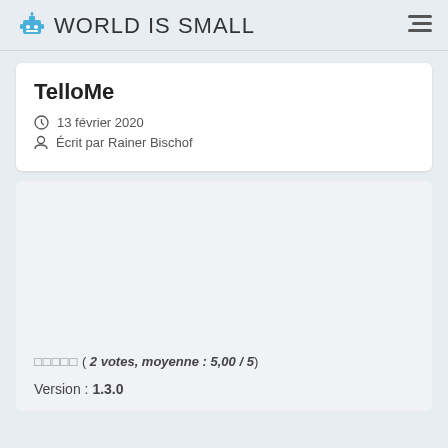WORLD IS SMALL
TelloMe
13 février 2020
Écrit par Rainer Bischof
□□□□□ ( 2 votes, moyenne : 5,00 / 5)
Version : 1.3.0